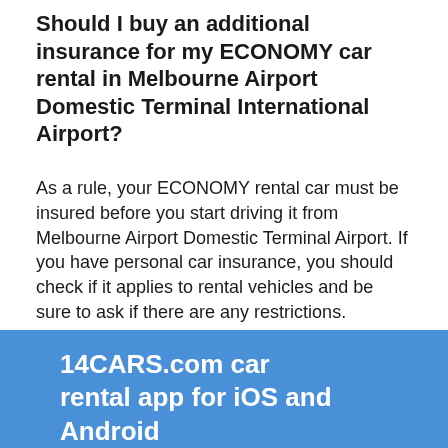Should I buy an additional insurance for my ECONOMY car rental in Melbourne Airport Domestic Terminal International Airport?
As a rule, your ECONOMY rental car must be insured before you start driving it from Melbourne Airport Domestic Terminal Airport. If you have personal car insurance, you should check if it applies to rental vehicles and be sure to ask if there are any restrictions.
If you don't want to buy full insurance, it is recommended to buy insurance to secure your deposit. To do this, you must have a sufficient amount of money on your credit card to cover a deposit and buy Excess insurance on 14CARS.com on the reservation stage.
14CARS.com car rental app for iOS and Android